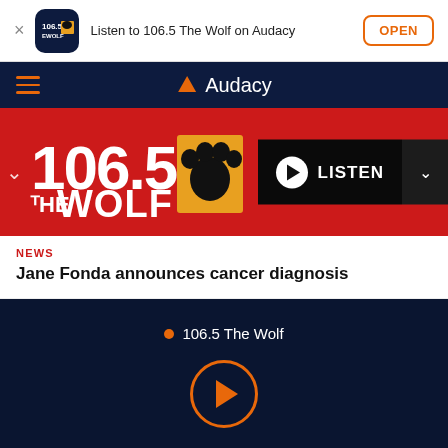[Figure (screenshot): App install banner: 106.5 The Wolf app icon, text 'Listen to 106.5 The Wolf on Audacy', OPEN button]
[Figure (logo): Audacy navigation bar with hamburger menu and Audacy logo]
[Figure (logo): 106.5 The Wolf station banner with station logo and LISTEN button]
NEWS
Jane Fonda announces cancer diagnosis
106.5 The Wolf
[Figure (illustration): Large orange circular play button on dark navy background]